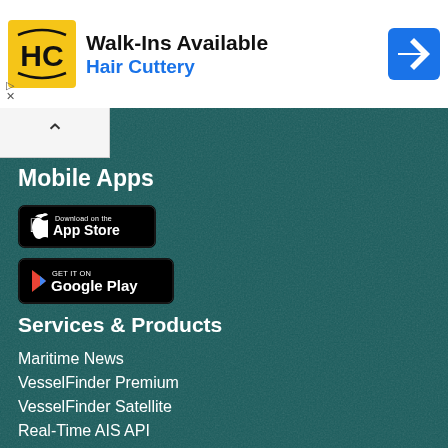[Figure (infographic): Hair Cuttery advertisement banner with HC logo, 'Walk-Ins Available' headline, 'Hair Cuttery' subtext in blue, and blue navigation arrow icon]
[Figure (other): Collapse/expand chevron toggle button (up arrow) on white background]
Mobile Apps
[Figure (other): Download on the App Store badge button (black background, Apple logo, white text)]
[Figure (other): GET IT ON Google Play badge button (black background, Google Play triangle logo, white text)]
Services & Products
Maritime News
VesselFinder Premium
VesselFinder Satellite
Real-Time AIS API
Historical AIS Data